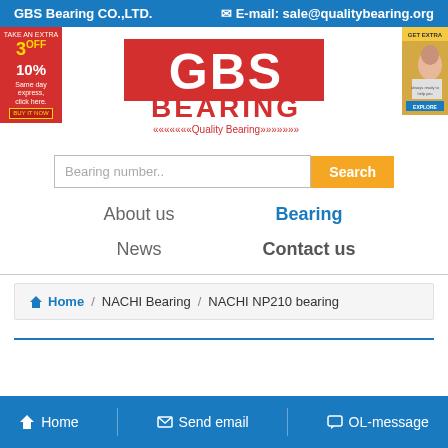GBS Bearing CO.,LTD.   ✉ E-mail: sale@qualitybearing.org
[Figure (logo): GBS BEARING logo in red block letters with Quality Bearing tagline and chevron decorations]
[Figure (infographic): Red promo banner: TAKE AN EXTRA 3 OFF 10%]
[Figure (photo): Woman speaking on phone, customer service ad]
Bearing number..   Search
About us
Bearing
News
Contact us
🏠 Home / NACHI Bearing / NACHI NP210 bearing
⌂ Home   ✉ Send email   ▭ OL-message